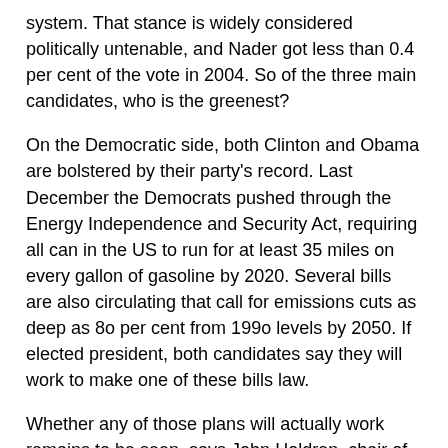system. That stance is widely considered politically untenable, and Nader got less than 0.4 per cent of the vote in 2004. So of the three main candidates, who is the greenest?
On the Democratic side, both Clinton and Obama are bolstered by their party's record. Last December the Democrats pushed through the Energy Independence and Security Act, requiring all can in the US to run for at least 35 miles on every gallon of gasoline by 2020. Several bills are also circulating that call for emissions cuts as deep as 80 per cent from 1990 levels by 2050. If elected president, both candidates say they will work to make one of these bills law.
Whether any of those plans will actually work remains to be seen, says John Holdren, chair of the American Association for the Advancement of Science. "Eighty per cent by 2050 is almost a theological argument. No one can know what the world will be like in 42 years," he says. "The important thing is that we get on a track to make deep cuts in emissions down the road." To do that, Holdren and other climate experts agree that by itself a cap-and-trade system is not